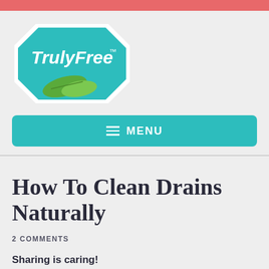[Figure (logo): TrulyFree logo: teal octagon shape with white text 'TrulyFree' and a green leaf graphic, on white background]
[Figure (infographic): Teal rounded rectangle menu button with hamburger icon and text 'MENU' in white]
How To Clean Drains Naturally
2 COMMENTS
Sharing is caring!